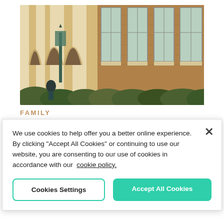[Figure (photo): Exterior photograph of a university or institutional building with brick facade, arched entryways, decorative stone columns, and a green lamp post. Shrubs and landscaping visible in the foreground.]
FAMILY
We use cookies to help offer you a better online experience. By clicking "Accept All Cookies" or continuing to use our website, you are consenting to our use of cookies in accordance with our cookie policy.
Cookies Settings
Accept All Cookies